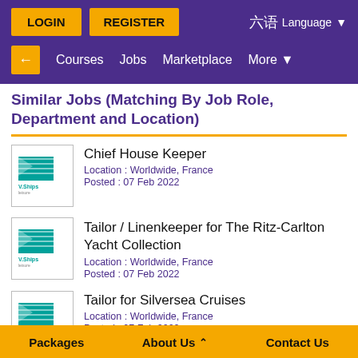LOGIN  REGISTER  Language
← Courses  Jobs  Marketplace  More
Similar Jobs (Matching By Job Role, Department and Location)
Chief House Keeper
Location : Worldwide, France
Posted : 07 Feb 2022
Tailor / Linenkeeper for The Ritz-Carlton Yacht Collection
Location : Worldwide, France
Posted : 07 Feb 2022
Tailor for Silversea Cruises
Location : Worldwide, France
Posted : 07 Feb 2022
Packages  About Us  Contact Us